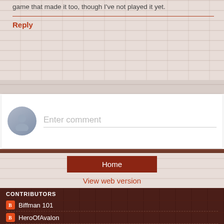game that made it too, though I've not played it yet.
Reply
[Figure (other): Comment input box with avatar placeholder and 'Enter comment' placeholder text]
Home
View web version
CONTRIBUTORS
Biffman 101
HeroOfAvalon
Powered by Blogger.